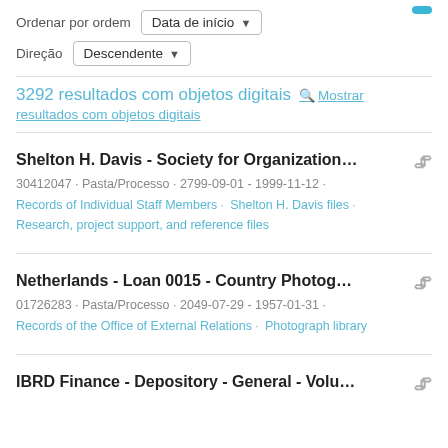Ordenar por ordem  Data de início ▼
Direção  Descendente ▼
3292 resultados com objetos digitais  🔍 Mostrar resultados com objetos digitais
Shelton H. Davis - Society for Organization...  📎
30412047 · Pasta/Processo · 2799-09-01 - 1999-11-12 ·
Records of Individual Staff Members · Shelton H. Davis files ·
Research, project support, and reference files
Netherlands - Loan 0015 - Country Photog...  📎
01726283 · Pasta/Processo · 2049-07-29 - 1957-01-31 ·
Records of the Office of External Relations · Photograph library
IBRD Finance - Depository - General - Volu...  📎